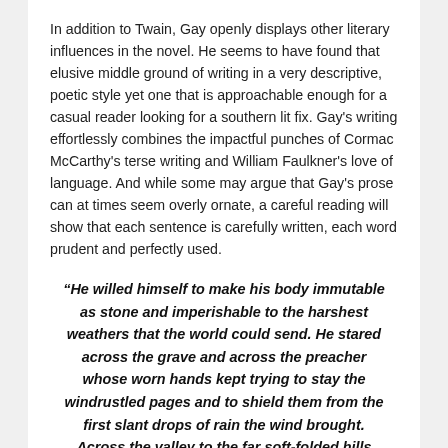In addition to Twain, Gay openly displays other literary influences in the novel. He seems to have found that elusive middle ground of writing in a very descriptive, poetic style yet one that is approachable enough for a casual reader looking for a southern lit fix. Gay's writing effortlessly combines the impactful punches of Cormac McCarthy's terse writing and William Faulkner's love of language. And while some may argue that Gay's prose can at times seem overly ornate, a careful reading will show that each sentence is carefully written, each word prudent and perfectly used.
“He willed himself to make his body immutable as stone and imperishable to the harshest weathers that the world could send. He stared across the grave and across the preacher whose worn hands kept trying to stay the windrustled pages and to shield them from the first slant drops of rain the wind brought. Across the valley to the far soft-folded hills where the hollows lay in dark secrecy and where pale mist rose and doves called mournfully as hawks rode the updrafts